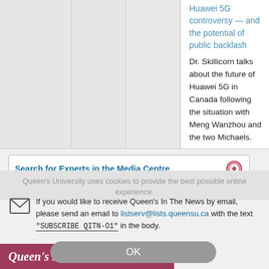Huawei 5G controversy — and the potential of public backlash
Dr. Skillicorn talks about the future of Huawei 5G in Canada following the situation with Meng Wanzhou and the two Michaels.
Search for Experts in the Media Centre
Queen's University uses cookies to provide the best possible online experience.
If you would like to receive Queen's In The News by email, please send an email to listserv@lists.queensu.ca with the text "SUBSCRIBE QITN-O1" in the body.
OK
Queen's in the news